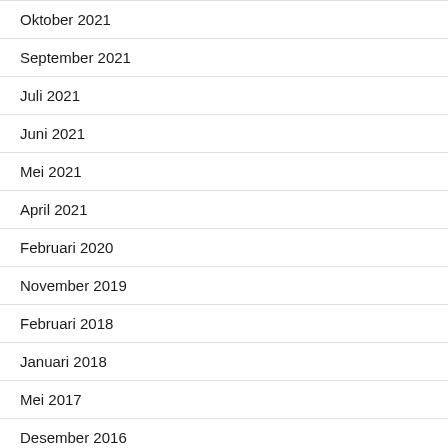Oktober 2021
September 2021
Juli 2021
Juni 2021
Mei 2021
April 2021
Februari 2020
November 2019
Februari 2018
Januari 2018
Mei 2017
Desember 2016
November 2016